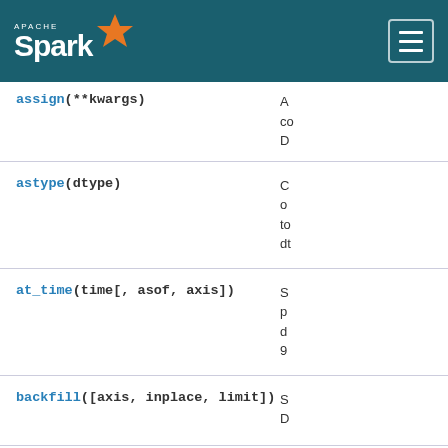Apache Spark
| Method | Description |
| --- | --- |
| assign(**kwargs) | A... co... D... |
| astype(dtype) | C... o... to... dt... |
| at_time(time[, asof, axis]) | S... p... d... 9... |
| backfill([axis, inplace, limit]) | S... D... |